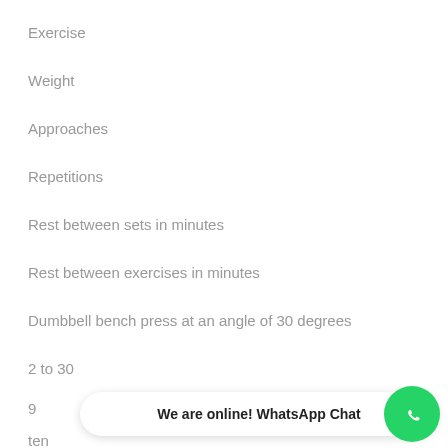Exercise
Weight
Approaches
Repetitions
Rest between sets in minutes
Rest between exercises in minutes
Dumbbell bench press at an angle of 30 degrees
2 to 30
9
ten